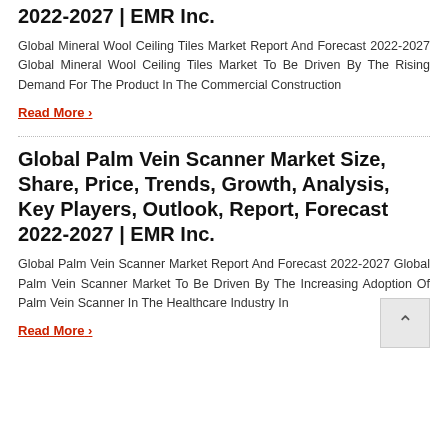2022-2027 | EMR Inc.
Global Mineral Wool Ceiling Tiles Market Report And Forecast 2022-2027 Global Mineral Wool Ceiling Tiles Market To Be Driven By The Rising Demand For The Product In The Commercial Construction
Read More ›
Global Palm Vein Scanner Market Size, Share, Price, Trends, Growth, Analysis, Key Players, Outlook, Report, Forecast 2022-2027 | EMR Inc.
Global Palm Vein Scanner Market Report And Forecast 2022-2027 Global Palm Vein Scanner Market To Be Driven By The Increasing Adoption Of Palm Vein Scanner In The Healthcare Industry In
Read More ›